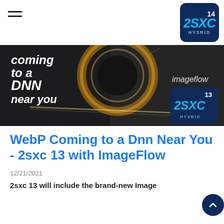[Figure (logo): 2SXC 14 Hybrid logo badge in dark navy blue with teal brand text]
[Figure (photo): Dark dramatic hero image with 'coming to a DNN near you', 'imageflow' text, circular light painting, and 2sxc 13 Hybrid logo badge]
WebP Coming to a Dnn Near You - 2sxc 13 with ImageFlow
12/21/2021
2sxc 13 will include the brand-new Image